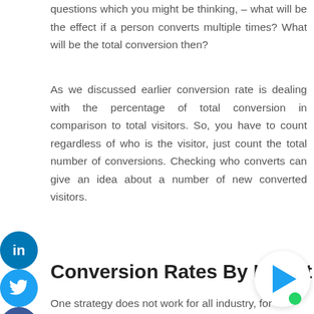questions which you might be thinking, – what will be the effect if a person converts multiple times? What will be the total conversion then?
As we discussed earlier conversion rate is dealing with the percentage of total conversion in comparison to total visitors. So, you have to count regardless of who is the visitor, just count the total number of conversions. Checking who converts can give an idea about a number of new converted visitors.
Conversion Rates By Indust
One strategy does not work for all industry, for